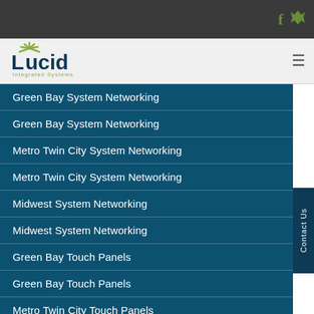Lucid Integrated Systems — top bar with social icons
[Figure (logo): Lucid Integrated Systems logo with sunburst icon and green/navy text]
Green Bay System Networking
Green Bay System Networking
Metro Twin City System Networking
Metro Twin City System Networking
Midwest System Networking
Midwest System Networking
Green Bay Touch Panels
Green Bay Touch Panels
Metro Twin City Touch Panels
Metro Twin City Touch Panels